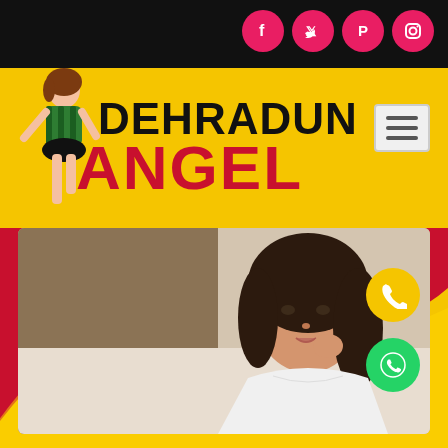[Figure (screenshot): Website screenshot for Dehradun Angel escort service. Black top bar with social media icons (Facebook, Twitter, Pinterest, Instagram). Yellow header band with pin-up illustration and brand name 'DEHRADUN ANGEL' in black/red. Main area shows photo of a young woman in white top, with phone and WhatsApp floating action buttons.]
DEHRADUN ANGEL